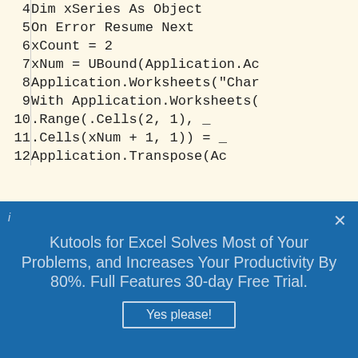[Figure (screenshot): Code editor screenshot showing VBA/Basic code lines numbered 4 through 12 on a cream/yellow background. Lines show: 4: Dim xSeries As Object, 5: On Error Resume Next, 6: xCount = 2, 7: xNum = UBound(Application.Ac, 8: Application.Worksheets("Char, 9: With Application.Worksheets(, 10: .Range(.Cells(2, 1), _, 11: .Cells(xNum + 1, 1)) = _, 12: Application.Transpose(Ac]
Kutools for Excel Solves Most of Your Problems, and Increases Your Productivity By 80%. Full Features 30-day Free Trial.
Yes please!